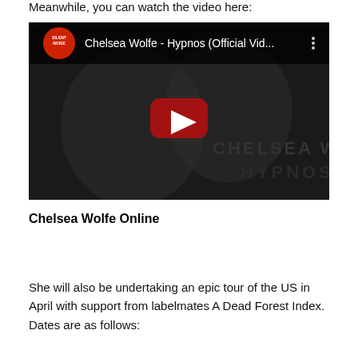Meanwhile, you can watch the video here:
[Figure (screenshot): YouTube video thumbnail for Chelsea Wolfe - Hypnos (Official Vid...) showing a dark image with a red play button, the text CHELSEA WOLFE HYPNOS, and a YouTube-style header with channel logo and video title.]
Chelsea Wolfe Online
She will also be undertaking an epic tour of the US in April with support from labelmates A Dead Forest Index. Dates are as follows: